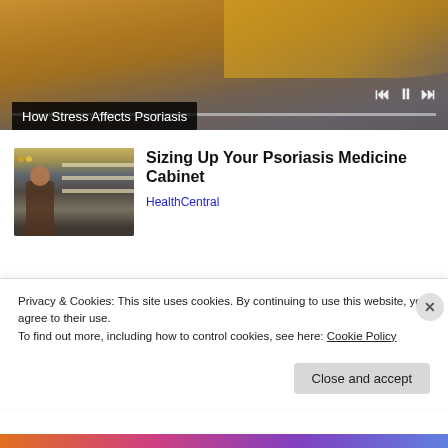[Figure (screenshot): Video player showing a person in a yellow sweater sitting on a couch, with media controls (previous, pause, next) and a progress bar at the bottom]
How Stress Affects Psoriasis
[Figure (photo): Thumbnail of a woman shopping in a store aisle with shelves of products]
Sizing Up Your Psoriasis Medicine Cabinet
HealthCentral
Privacy & Cookies: This site uses cookies. By continuing to use this website, you agree to their use.
To find out more, including how to control cookies, see here: Cookie Policy
Close and accept